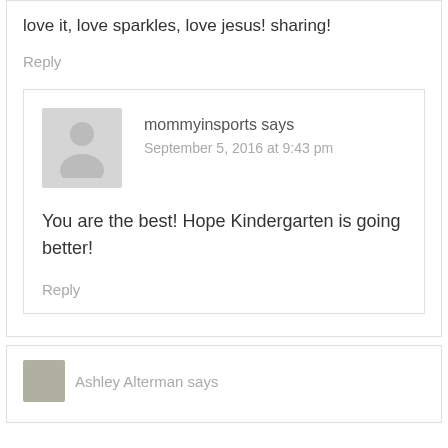love it, love sparkles, love jesus! sharing!
Reply
mommyinsports says
September 5, 2016 at 9:43 pm
You are the best! Hope Kindergarten is going better!
Reply
Ashley Alterman says